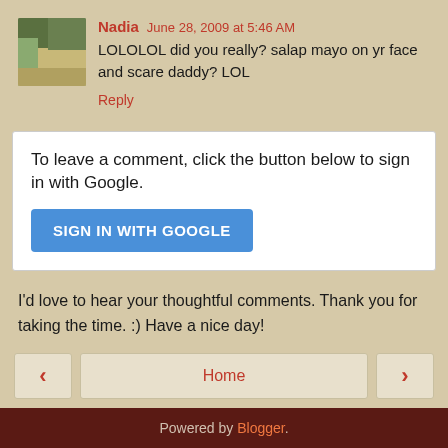Nadia  June 28, 2009 at 5:46 AM
LOLOLOL did you really? salap mayo on yr face and scare daddy? LOL
Reply
To leave a comment, click the button below to sign in with Google.
SIGN IN WITH GOOGLE
I'd love to hear your thoughtful comments. Thank you for taking the time. :) Have a nice day!
< Home > View web version
Powered by Blogger.